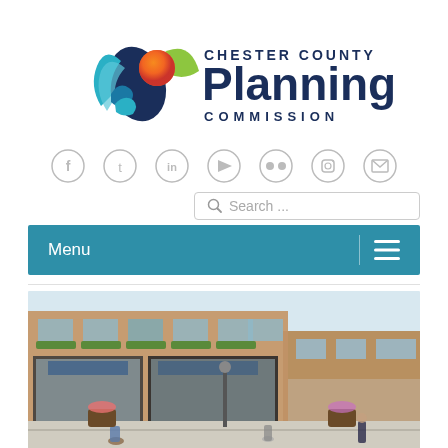[Figure (logo): Chester County Planning Commission logo with stylized peacock/leaf icon in blue, teal, green and orange, next to bold text reading 'CHESTER COUNTY Planning COMMISSION']
[Figure (infographic): Row of 7 circular social media icons: Facebook (f), Twitter (bird/t), LinkedIn (in), YouTube (play), Flickr (dots), Instagram (camera), Email (envelope) — all in light gray circle outlines]
[Figure (screenshot): Search bar UI element with magnifying glass icon and placeholder text 'Search ...']
[Figure (screenshot): Teal navigation menu bar reading 'Menu' on left with hamburger icon on right, separated by a vertical divider line]
[Figure (illustration): Architectural rendering of a mixed-use urban street scene with brick buildings, storefronts, pedestrians, a lamppost, outdoor planters with flowers, and people walking on sidewalk]